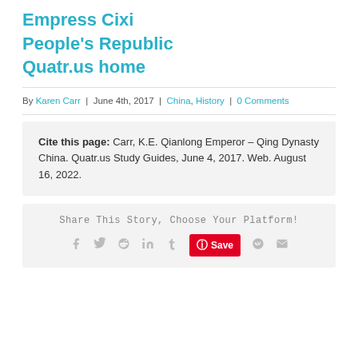Empress Cixi
People’s Republic
Quatr.us home
By Karen Carr | June 4th, 2017 | China, History | 0 Comments
Cite this page: Carr, K.E. Qianlong Emperor – Qing Dynasty China. Quatr.us Study Guides, June 4, 2017. Web. August 16, 2022.
Share This Story, Choose Your Platform!